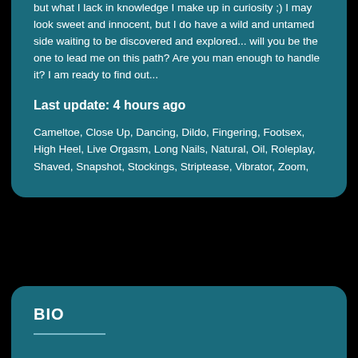but what I lack in knowledge I make up in curiosity ;) I may look sweet and innocent, but I do have a wild and untamed side waiting to be discovered and explored... will you be the one to lead me on this path? Are you man enough to handle it? I am ready to find out...
Last update: 4 hours ago
Cameltoe, Close Up, Dancing, Dildo, Fingering, Footsex, High Heel, Live Orgasm, Long Nails, Natural, Oil, Roleplay, Shaved, Snapshot, Stockings, Striptease, Vibrator, Zoom,
BIO